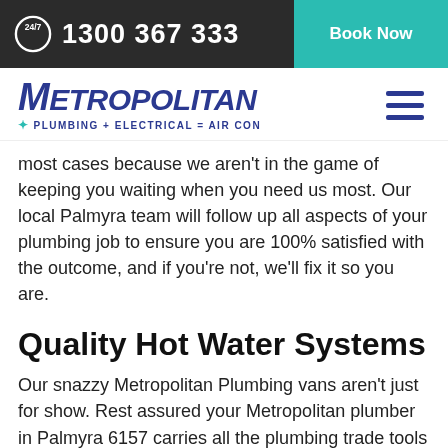24/7   1300 367 333   Book Now
[Figure (logo): Metropolitan Plumbing + Electrical = Air Con logo with hamburger menu icon]
most cases because we aren't in the game of keeping you waiting when you need us most. Our local Palmyra team will follow up all aspects of your plumbing job to ensure you are 100% satisfied with the outcome, and if you're not, we'll fix it so you are.
Quality Hot Water Systems
Our snazzy Metropolitan Plumbing vans aren't just for show. Rest assured your Metropolitan plumber in Palmyra 6157 carries all the plumbing trade tools and equipment needed to handle any gas and plumbing problem quickly. We also have access to a